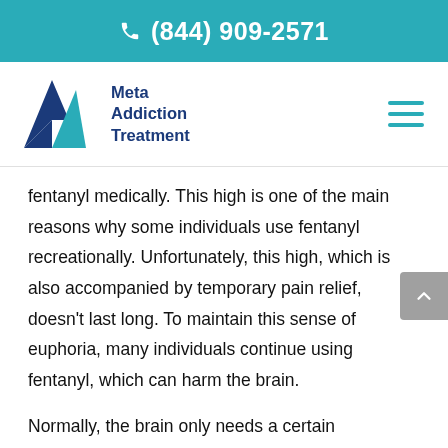(844) 909-2571
[Figure (logo): Meta Addiction Treatment logo with blue and teal mountain/arrow shapes and dark blue text]
fentanyl medically. This high is one of the main reasons why some individuals use fentanyl recreationally. Unfortunately, this high, which is also accompanied by temporary pain relief, doesn't last long. To maintain this sense of euphoria, many individuals continue using fentanyl, which can harm the brain.
Normally, the brain only needs a certain amount of dopamine to function properly. But the brain adapts quickly. Instead of discarding the excess dopamine, the brain directs the increased levels. Because of this...